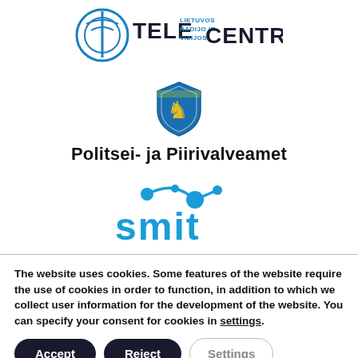[Figure (logo): Tele Centras logo — blue circular tower icon with text TELE LIETUVOS RADIJO IR VIZIJOS CENTRAS in black and blue]
[Figure (logo): Estonian Police and Border Guard Board (Politsei- ja Piirivalveamet) shield logo — blue shield with golden lion]
Politsei- ja Piirivalveamet
[Figure (logo): SMIT logo — blue stylized text with dots and connecting lines above letters]
The website uses cookies. Some features of the website require the use of cookies in order to function, in addition to which we collect user information for the development of the website. You can specify your consent for cookies in settings.